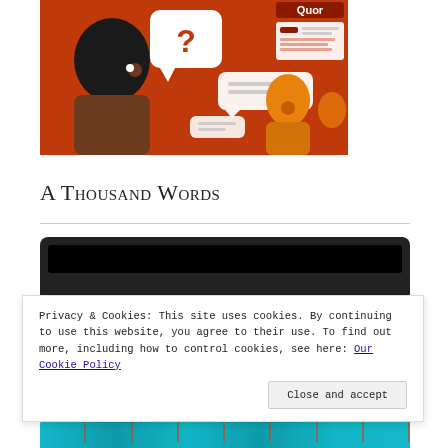[Figure (illustration): Illustration showing a dark-skinned person in profile on an orange/red background with speech bubbles containing a question mark, text lines, and a Quora-style interface element. Smaller orange figures are visible in the background.]
A Thousand Words
[Figure (screenshot): A dark/black thumbnail of a video player or embedded media, with a dark rectangle representing a video screen inside a rounded dark container.]
Privacy & Cookies: This site uses cookies. By continuing to use this website, you agree to their use. To find out more, including how to control cookies, see here: Our Cookie Policy
Close and accept
[Figure (photo): A strip of teal/turquoise colored images with dark red/brown vertical stripe pattern visible at the bottom of the page.]